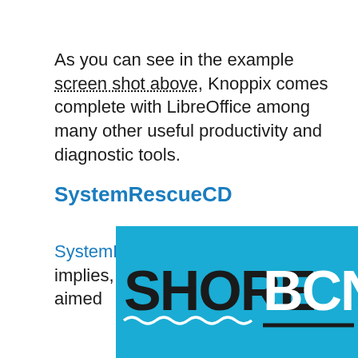As you can see in the example screen shot above, Knoppix comes complete with LibreOffice among many other useful productivity and diagnostic tools.
SystemRescueCD
SystemRescueCD, as its name implies, is a Live CD specifically aimed
[Figure (logo): ShoreBCN logo on a cyan/blue background. 'SHORE' in bold black text and 'BCN' in bold white text, with wavy underline decoration and a horizontal bar below.]